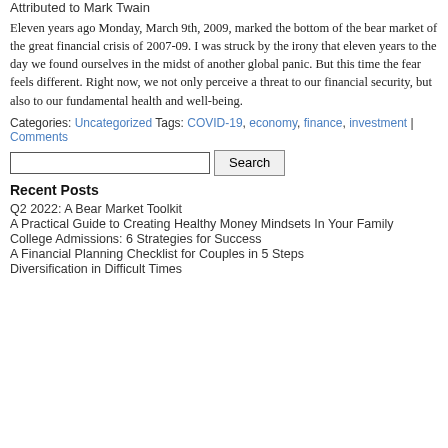Attributed to Mark Twain
Eleven years ago Monday, March 9th, 2009, marked the bottom of the bear market of the great financial crisis of 2007-09. I was struck by the irony that eleven years to the day we found ourselves in the midst of another global panic. But this time the fear feels different. Right now, we not only perceive a threat to our financial security, but also to our fundamental health and well-being.
Categories: Uncategorized Tags: COVID-19, economy, finance, investment | Comments
Recent Posts
Q2 2022: A Bear Market Toolkit
A Practical Guide to Creating Healthy Money Mindsets In Your Family
College Admissions: 6 Strategies for Success
A Financial Planning Checklist for Couples in 5 Steps
Diversification in Difficult Times